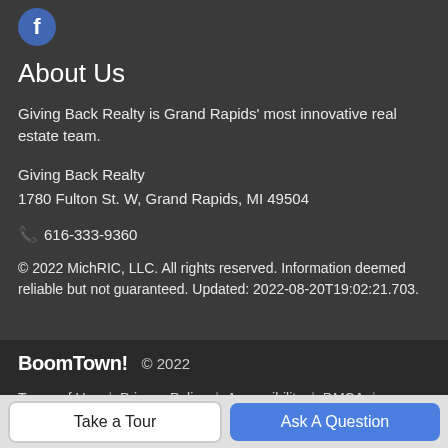[Figure (logo): Facebook icon - circular blue button with white 'f' letter]
About Us
Giving Back Realty is Grand Rapids' most innovative real estate team.
Giving Back Realty
1780 Fulton St. W, Grand Rapids, MI 49504
📞 616-333-9360
© 2022 MichRIC, LLC. All rights reserved. Information deemed reliable but not guaranteed. Updated: 2022-08-20T19:02:21.703.
BoomTown! © 2022
Terms of Use | Privacy Policy | Accessibility | DMCA | Listings Sitemap